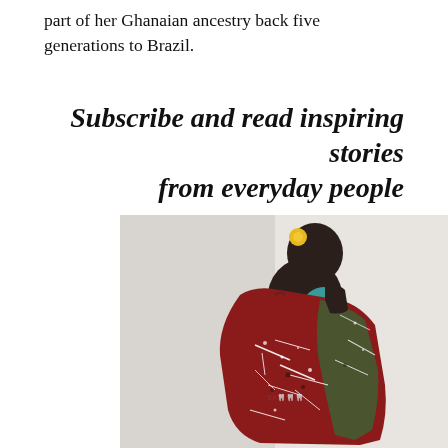part of her Ghanaian ancestry back five generations to Brazil.
Subscribe and read inspiring stories from everyday people
[Figure (photo): A person wearing or holding a large red and dark patterned fabric/cloth, possibly a bag or wrap, with white paint splatter designs on it. The person is wearing a teal/turquoise short-sleeve shirt and has a yellow flower accessory in their hair. The background is a plain light wall.]